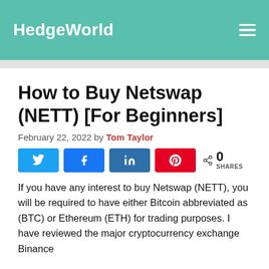HedgeWorld
How to Buy Netswap (NETT) [For Beginners]
February 22, 2022 by Tom Taylor
[Figure (other): Social share buttons row: Twitter, Facebook, LinkedIn, Pinterest, and share count showing 0 SHARES]
If you have any interest to buy Netswap (NETT), you will be required to have either Bitcoin abbreviated as (BTC) or Ethereum (ETH) for trading purposes. I have reviewed the major cryptocurrency exchange Binance